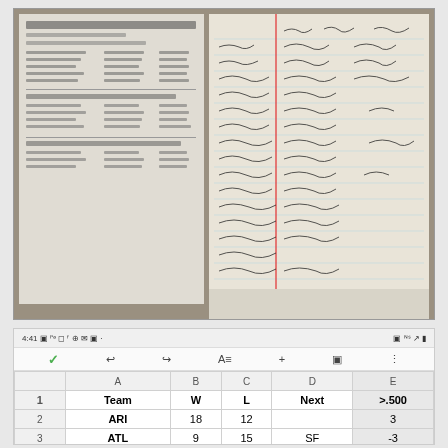[Figure (photo): Photo of handwritten sports statistics notes on lined paper alongside printed statistical sheets/receipts. A blue Reporter's Notebook is visible in the lower right corner.]
[Figure (screenshot): Screenshot of a mobile spreadsheet app at 4:41, showing a table with columns: Team, W, L, Next, >.500. Row 1 headers, Row 2: ARI 18 12 [blank] 3, Row 3: ATL 9 15 SF -3]
|  | A | B | C | D | E |
| --- | --- | --- | --- | --- | --- |
| 1 | Team | W | L | Next | >.500 |
| 2 | ARI | 18 | 12 |  | 3 |
| 3 | ATL | 9 | 15 | SF | -3 |